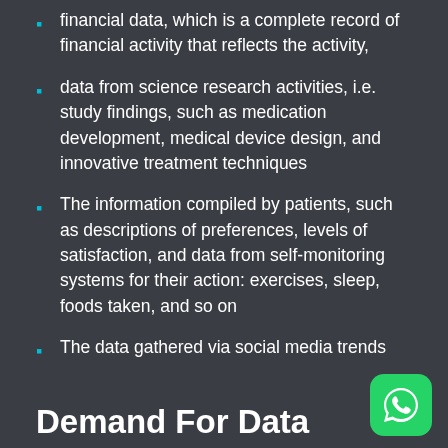financial data, which is a complete record of financial activity that reflects the activity,
data from science research activities, i.e. study findings, such as medication development, medical device design, and innovative treatment techniques
The information compiled by patients, such as descriptions of preferences, levels of satisfaction, and data from self-monitoring systems for their action: exercises, sleep, foods taken, and so on
The data gathered via social media trends
Demand For Data Analytics
The Health Foundation revealed that, although the